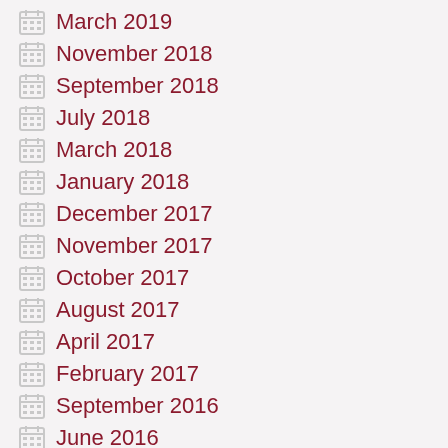March 2019
November 2018
September 2018
July 2018
March 2018
January 2018
December 2017
November 2017
October 2017
August 2017
April 2017
February 2017
September 2016
June 2016